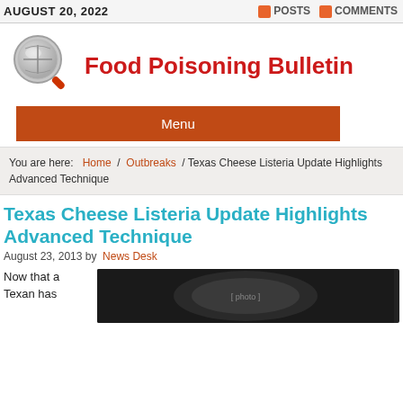AUGUST 20, 2022 | POSTS COMMENTS
[Figure (logo): Food Poisoning Bulletin logo with magnifying glass icon]
Food Poisoning Bulletin
Menu
You are here: Home / Outbreaks / Texas Cheese Listeria Update Highlights Advanced Technique
Texas Cheese Listeria Update Highlights Advanced Technique
August 23, 2013 by News Desk
Now that a Texan has